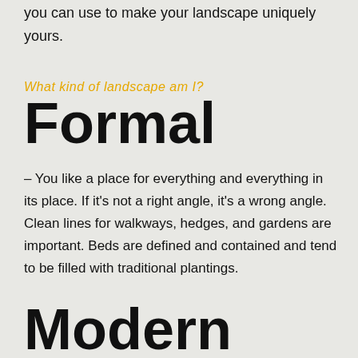you can use to make your landscape uniquely yours.
What kind of landscape am I?
Formal
– You like a place for everything and everything in its place. If it's not a right angle, it's a wrong angle. Clean lines for walkways, hedges, and gardens are important. Beds are defined and contained and tend to be filled with traditional plantings.
Modern